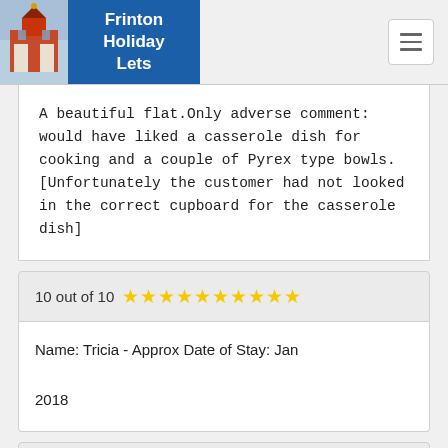Frinton Holiday Lets
A beautiful flat.Only adverse comment: would have liked a casserole dish for cooking and a couple of Pyrex type bowls. [Unfortunately the customer had not looked in the correct cupboard for the casserole dish]
10 out of 10 ★★★★★★★★★★
Name: Tricia - Approx Date of Stay: Jan 2018
10 out of 10 ★★★★★★★★★★